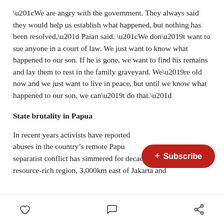“We are angry with the government. They always said they would help us establish what happened, but nothing has been resolved,” Paian said. “We don’t want to sue anyone in a court of law. We just want to know what happened to our son. If he is gone, we want to find his remains and lay them to rest in the family graveyard. We’re old now and we just want to live in peace, but until we know what happened to our son, we can’t do that.”
State brutality in Papua
In recent years activists have reported abuses in the country’s remote Papua region, where a separatist conflict has simmered for decades. The resource-rich region, 3,000km east of Jakarta and
[Figure (other): Red rounded rectangle subscribe button with plus sign and text '+ Subscribe']
Heart icon, Comment icon, Share icon